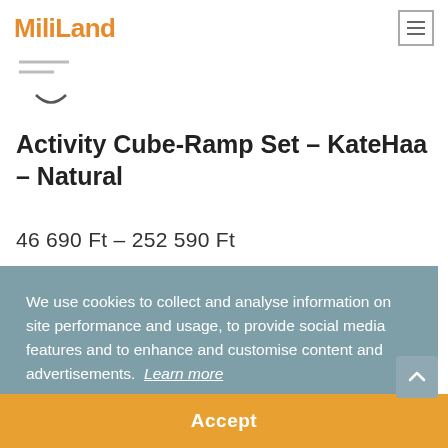MiliLand
[Figure (logo): MiliLand logo with stylized face/smile icon below text]
Activity Cube-Ramp Set – KateHaa – Natural
46 690 Ft – 252 590 Ft
We use cookies to collect and analyse information on site performance and usage, to provide social media features and to enhance and customise content and advertisements. Learn more
Accept
...Cube ...turer ...hetic ...ment ...ative, ...ren ...kills, strength, and balance. In addition, they unleash